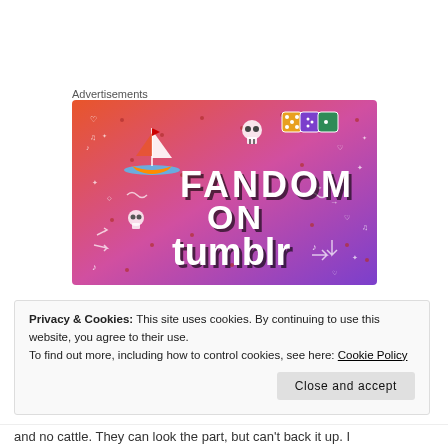Advertisements
[Figure (illustration): Fandom on Tumblr advertisement banner with colorful gradient background (orange to purple), featuring a sailboat illustration, skull icons, dice icons, and bold text reading FANDOM ON tumblr with decorative doodles throughout.]
Privacy & Cookies: This site uses cookies. By continuing to use this website, you agree to their use.
To find out more, including how to control cookies, see here: Cookie Policy
Close and accept
and no cattle. They can look the part, but can't back it up. I